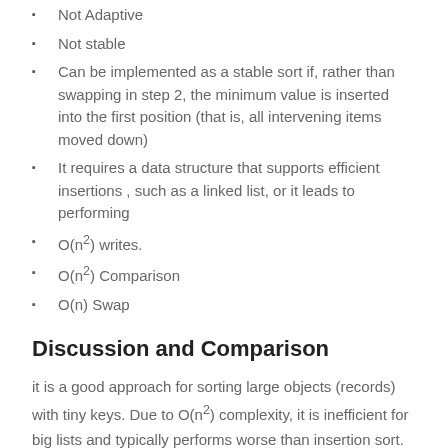Not Adaptive
Not stable
Can be implemented as a stable sort if, rather than swapping in step 2, the minimum value is inserted into the first position (that is, all intervening items moved down)
It requires a data structure that supports efficient insertions , such as a linked list, or it leads to performing
O(n²) writes.
O(n²) Comparison
O(n) Swap
Discussion and Comparison
it is a good approach for sorting large objects (records) with tiny keys. Due to O(n²) complexity, it is inefficient for big lists and typically performs worse than insertion sort.
Selection sort performs O(n) swaps, where as insertion sort